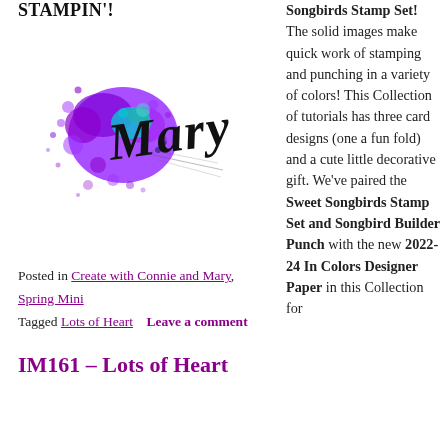STAMPIN'!
[Figure (illustration): Colorful ink splash signature image with the handwritten script name 'Mary' in black, with purple and teal ink splatter behind it.]
Posted in Create with Connie and Mary, Spring Mini  Tagged Lots of Heart  Leave a comment
IM161 – Lots of Heart
Songbirds Stamp Set! The solid images make quick work of stamping and punching in a variety of colors! This Collection of tutorials has three card designs (one a fun fold) and a cute little decorative gift. We've paired the Sweet Songbirds Stamp Set and Songbird Builder Punch with the new 2022-24 In Colors Designer Paper in this Collection for